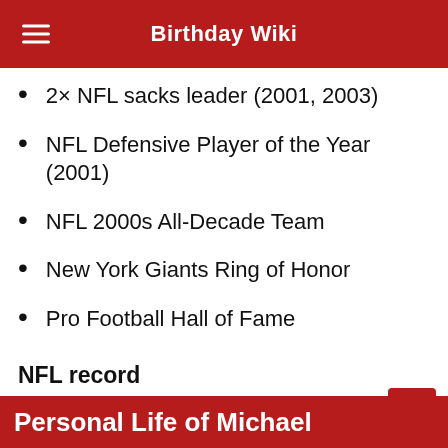Birthday Wiki
2× NFL sacks leader (2001, 2003)
NFL Defensive Player of the Year (2001)
NFL 2000s All-Decade Team
New York Giants Ring of Honor
Pro Football Hall of Fame
NFL record
22.5 sacks in a season
Personal Life of Michael